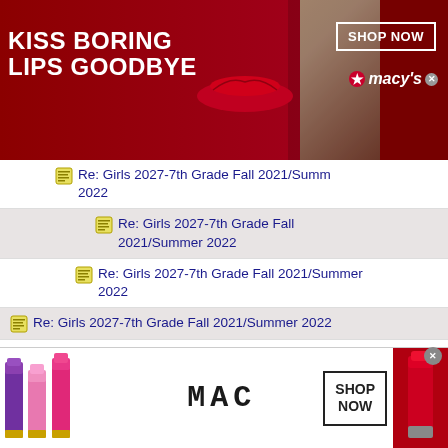[Figure (photo): Top Macy's advertisement banner: red background on left with white bold text 'KISS BORING LIPS GOODBYE', woman's face with red lips in center, 'SHOP NOW' button and Macy's logo on right]
Re: Girls 2027-7th Grade Fall 2021/Summer 2022
Re: Girls 2027-7th Grade Fall 2021/Summer 2022
Re: Girls 2027-7th Grade Fall 2021/Summer 2022
Re: Girls 2027-7th Grade Fall 2021/Summer 2022
Re: Girls 2027-7th Grade Fall 2021/Summer 2022
Re: Girls 2027-7th Grade Fall 2021/Summer 2022
Re: Girls 2027-7th Grade Fall 2021/Summer 2022
Re: Girls 2027-7th Grade Fall 2021/Summer 2022
Re: Girls 2027-7th Grade Fall 2021/Summer 2022
[Figure (photo): Bottom MAC cosmetics advertisement: colorful lipsticks on left, MAC logo in center, SHOP NOW box, red lipstick on right]